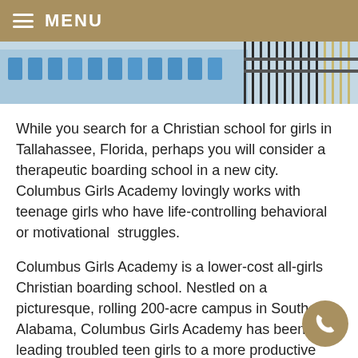MENU
[Figure (photo): Photo of blue chairs and metal fence/railings in an outdoor school campus setting]
While you search for a Christian school for girls in Tallahassee, Florida, perhaps you will consider a therapeutic boarding school in a new city. Columbus Girls Academy lovingly works with teenage girls who have life-controlling behavioral or motivational struggles.
Columbus Girls Academy is a lower-cost all-girls Christian boarding school. Nestled on a picturesque, rolling 200-acre campus in Southeast Alabama, Columbus Girls Academy has been leading troubled teen girls to a more productive and positive lifestyle and attitude. Teens to Columbus Girls Academy from across the nation, including from Tallahassee, Florida